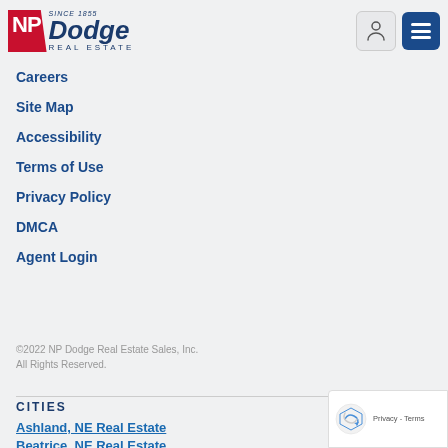[Figure (logo): NP Dodge Real Estate logo with red NP block and blue Dodge text, SINCE 1855 tagline, REAL ESTATE subtitle]
Careers
Site Map
Accessibility
Terms of Use
Privacy Policy
DMCA
Agent Login
©2022 NP Dodge Real Estate Sales, Inc.
All Rights Reserved.
CITIES
Ashland, NE Real Estate
Beatrice, NE Real Estate